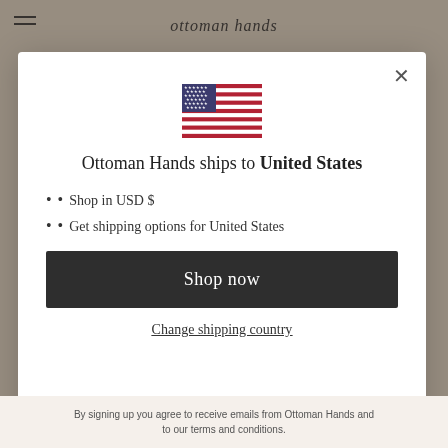ottoman hands
[Figure (screenshot): Modal dialog with US flag, shipping info, and shop now button]
Ottoman Hands ships to United States
Shop in USD $
Get shipping options for United States
Shop now
Change shipping country
By signing up you agree to receive emails from Ottoman Hands and to our terms and conditions.